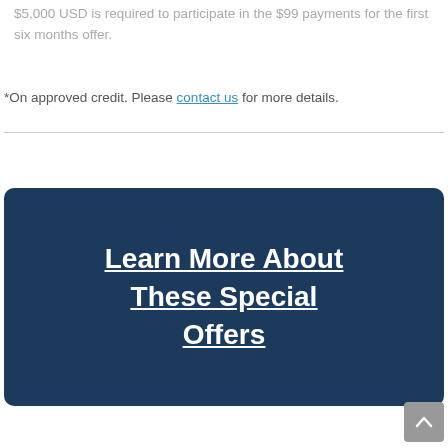$5,000 USD is required to participate in the $99 payments for the first six months offer.
*On approved credit. Please contact us for more details.
Learn More About These Special Offers